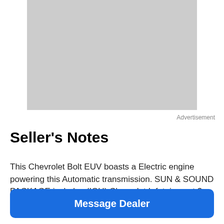[Figure (other): Gray placeholder advertisement image]
Advertisement
Seller's Notes
This Chevrolet Bolt EUV boasts a Electric engine powering this Automatic transmission. SUN & SOUND PACKAGE includes (IOU) Chevrolet Infotainment 3 Plus system with
Message Dealer